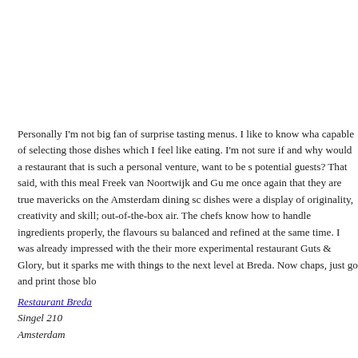Personally I'm not big fan of surprise tasting menus. I like to know wha capable of selecting those dishes which I feel like eating. I'm not sure if and why would a restaurant that is such a personal venture, want to be s potential guests? That said, with this meal Freek van Noortwijk and Gu me once again that they are true mavericks on the Amsterdam dining sc dishes were a display of originality, creativity and skill; out-of-the-box air. The chefs know how to handle ingredients properly, the flavours su balanced and refined at the same time. I was already impressed with the their more experimental restaurant Guts & Glory, but it sparks me with things to the next level at Breda. Now chaps, just go and print those blo
Restaurant Breda
Singel 210
Amsterdam